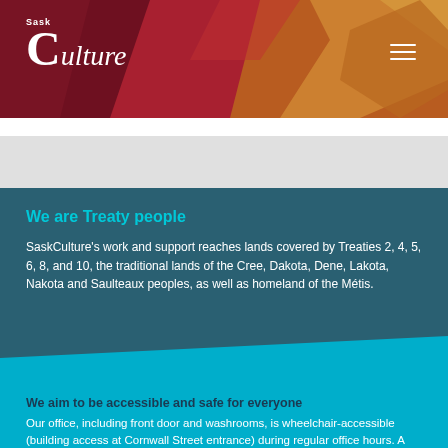SaskCulture
We are Treaty people
SaskCulture's work and support reaches lands covered by Treaties 2, 4, 5, 6, 8, and 10, the traditional lands of the Cree, Dakota, Dene, Lakota, Nakota and Saulteaux peoples, as well as homeland of the Métis.
We aim to be accessible and safe for everyone
Our office, including front door and washrooms, is wheelchair-accessible (building access at Cornwall Street entrance) during regular office hours. A proud supporter of safer and inclusive spaces initiatives, we are committed to a workplace free from hate, discrimination or harassment, where everyone is welcome.